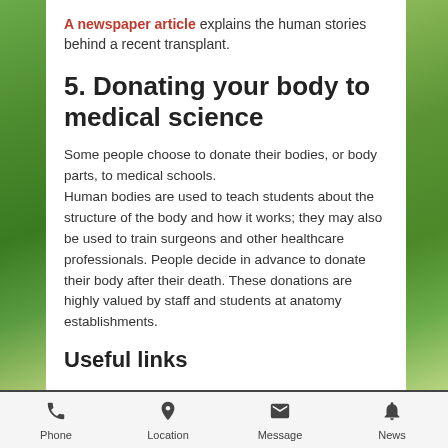A newspaper article explains the human stories behind a recent transplant.
5. Donating your body to medical science
Some people choose to donate their bodies, or body parts, to medical schools. Human bodies are used to teach students about the structure of the body and how it works; they may also be used to train surgeons and other healthcare professionals. People decide in advance to donate their body after their death. These donations are highly valued by staff and students at anatomy establishments.
Useful links
Phone  Location  Message  News